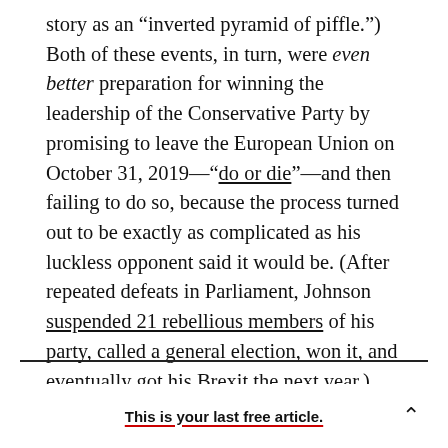story as an “inverted pyramid of piffle.”) Both of these events, in turn, were even better preparation for winning the leadership of the Conservative Party by promising to leave the European Union on October 31, 2019—“do or die”—and then failing to do so, because the process turned out to be exactly as complicated as his luckless opponent said it would be. (After repeated defeats in Parliament, Johnson suspended 21 rebellious members of his party, called a general election, won it, and eventually got his Brexit the next year.)
This is your last free article.